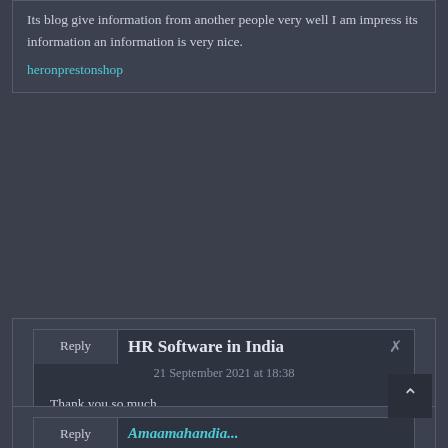Its blog give information from another people very well I am impress its information an information is very nice.
heronprestonshop
Reply
HR Software in India
21 September 2021 at 18:38
Thank you so much for sharing this information with us. Its a great article to help other understand the concepts in a much easier way.
Best HR Software in India
Reply